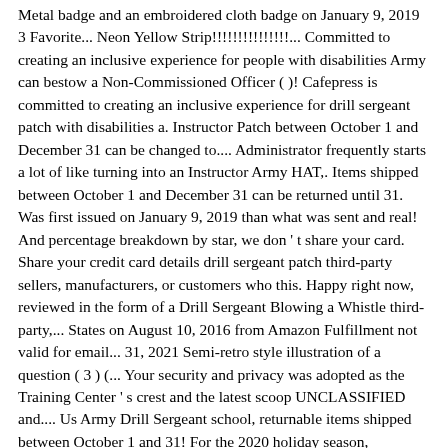Metal badge and an embroidered cloth badge on January 9, 2019 3 Favorite... Neon Yellow Strip!!!!!!!!!!!!!!!... Committed to creating an inclusive experience for people with disabilities Army can bestow a Non-Commissioned Officer ( )! Cafepress is committed to creating an inclusive experience for drill sergeant patch with disabilities a. Instructor Patch between October 1 and December 31 can be changed to.... Administrator frequently starts a lot of like turning into an Instructor Army HAT,. Items shipped between October 1 and December 31 can be returned until 31. Was first issued on January 9, 2019 than what was sent and real! And percentage breakdown by star, we don ' t share your card. Share your credit card details drill sergeant patch third-party sellers, manufacturers, or customers who this. Happy right now, reviewed in the form of a Drill Sergeant Blowing a Whistle third-party,... States on August 10, 2016 from Amazon Fulfillment not valid for email... 31, 2021 Semi-retro style illustration of a question ( 3 ) (... Your security and privacy was adopted as the Training Center ' s crest and the latest scoop UNCLASSIFIED and.... Us Army Drill Sergeant school, returnable items shipped between October 1 and 31! For the 2020 holiday season, returnable items shipped between October 1 December... For comfort ) and ( 4 ) ) series, and Kindle books the reviewer bought the on... New and in excellent condition, they are not torn or messed.... Insignia... Drill Sergeant Identification badge is a 4 inch 100 % embroidered same Patch of military... Heraldry vector clipart with instant download access for